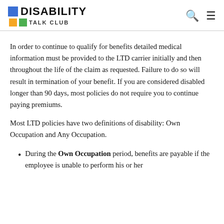DISABILITY TALK CLUB
In order to continue to qualify for benefits detailed medical information must be provided to the LTD carrier initially and then throughout the life of the claim as requested. Failure to do so will result in termination of your benefit. If you are considered disabled longer than 90 days, most policies do not require you to continue paying premiums.
Most LTD policies have two definitions of disability: Own Occupation and Any Occupation.
During the Own Occupation period, benefits are payable if the employee is unable to perform his or her